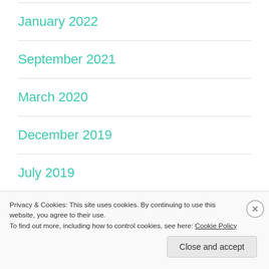January 2022
September 2021
March 2020
December 2019
July 2019
June 2019
Privacy & Cookies: This site uses cookies. By continuing to use this website, you agree to their use.
To find out more, including how to control cookies, see here: Cookie Policy
Close and accept